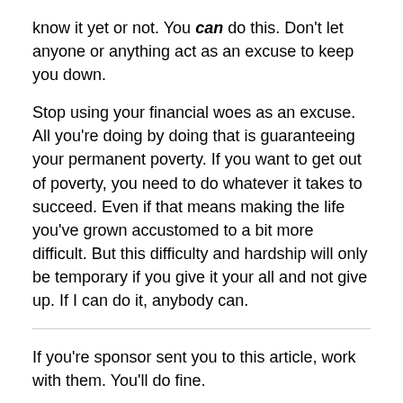know it yet or not. You can do this. Don't let anyone or anything act as an excuse to keep you down.
Stop using your financial woes as an excuse. All you're doing by doing that is guaranteeing your permanent poverty. If you want to get out of poverty, you need to do whatever it takes to succeed. Even if that means making the life you've grown accustomed to a bit more difficult. But this difficulty and hardship will only be temporary if you give it your all and not give up. If I can do it, anybody can.
If you're sponsor sent you to this article, work with them. You'll do fine.
If you found this post in a NM/DS group or a search engine, and are looking for a company to join, click here for some reviews of companies you can start interacting with